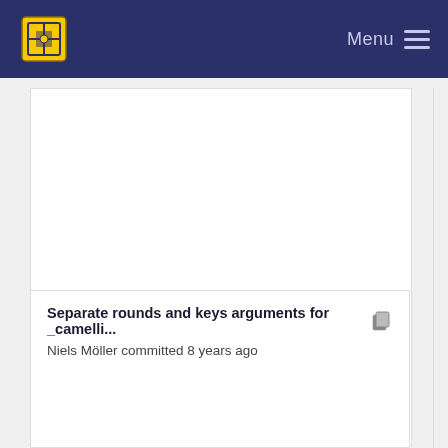Menu
[Figure (screenshot): Large white content panel area, mostly blank/empty]
Separate rounds and keys arguments for _camelli... Niels Möller committed 8 years ago